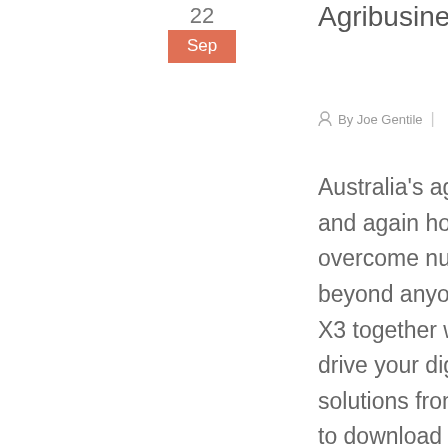Agribusiness
By Joe Gentile
Australia's agricultural sector has demonstrated time and again how it can adapt and evolve to survive and overcome numerous challenges that are often beyond anyone's control. Let us show you how Sage X3 together with our trusted partner, Aritmos can drive your digital transformation, delivering innovative solutions from paddock to plate. Please fill in the form to download the PDF